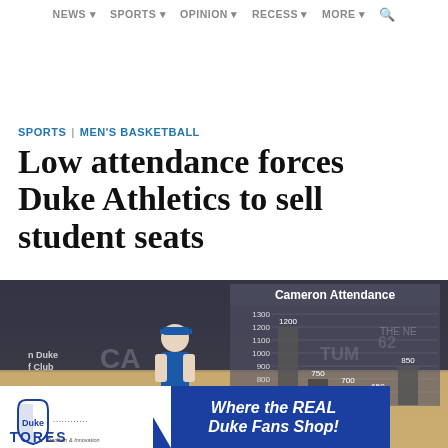NEWS | SPORTS | OPINION | RECESS | MORE
[Advertisement space]
SPORTS | MEN'S BASKETBALL
Low attendance forces Duke Athletics to sell student seats
[Figure (photo): Cameron Indoor Stadium photo with a bar chart overlay titled 'Cameron Attendance' showing attendance figures around 600-1300. A shirtless student fan is visible. Bar values visible: 1200, 750, 700, 650, 850. Y-axis labels: 600, 700, 800, 900, 1000, 1100, 1200, 1300.]
[Figure (infographic): Duke Stores advertisement banner: 'Where the REAL Duke Fans Shop!' with Duke Stores logo on white background and blue section.]